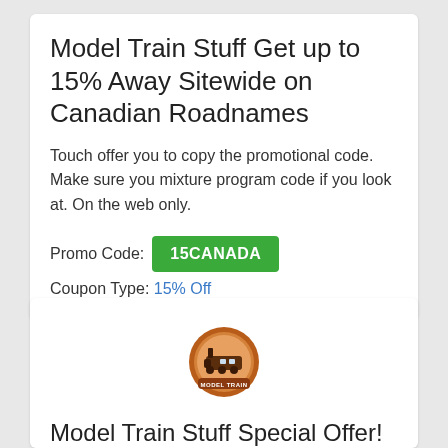Model Train Stuff Get up to 15% Away Sitewide on Canadian Roadnames
Touch offer you to copy the promotional code. Make sure you mixture program code if you look at. On the web only.
Promo Code: 15CANADA   Coupon Type: 15% Off
[Figure (logo): Model Train Stuff circular logo with train image]
Model Train Stuff Special Offer!